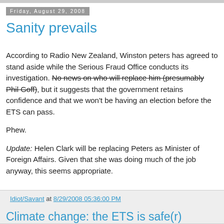Friday, August 29, 2008
Sanity prevails
According to Radio New Zealand, Winston peters has agreed to stand aside while the Serious Fraud Office conducts its investigation. No news on who will replace him (presumably Phil Goff), but it suggests that the government retains confidence and that we won't be having an election before the ETS can pass.
Phew.
Update: Helen Clark will be replacing Peters as Minister of Foreign Affairs. Given that she was doing much of the job anyway, this seems appropriate.
Idiot/Savant at 8/29/2008 05:36:00 PM
Climate change: the ETS is safe(r)